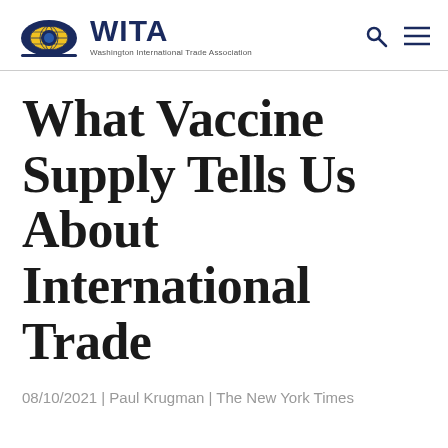WITA — Washington International Trade Association
What Vaccine Supply Tells Us About International Trade
08/10/2021 | Paul Krugman | The New York Times